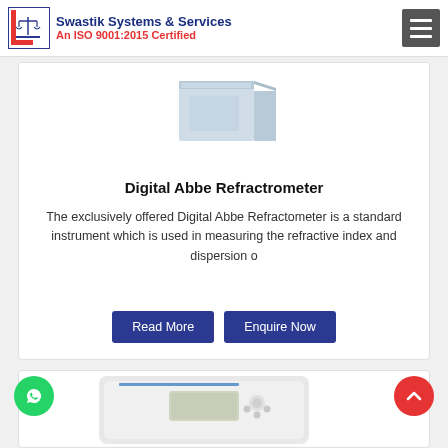[Figure (logo): Swastik Systems & Services logo with balance scale icon, company name and ISO certification text]
[Figure (photo): Digital Abbe Refractometer product image - a light blue/white box-shaped instrument]
Digital Abbe Refractrometer
The exclusively offered Digital Abbe Refractometer is a standard instrument which is used in measuring the refractive index and dispersion o
Read More | Enquire Now
[Figure (photo): Second product image - a white compact instrument with display screen and control buttons]